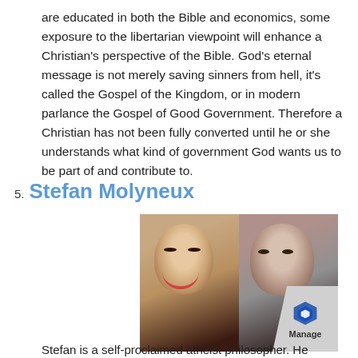are educated in both the Bible and economics, some exposure to the libertarian viewpoint will enhance a Christian's perspective of the Bible. God's eternal message is not merely saving sinners from hell, it's called the Gospel of the Kingdom, or in modern parlance the Gospel of Good Government. Therefore a Christian has not been fully converted until he or she understands what kind of government God wants us to be part of and contribute to.
5. Stefan Molyneux
[Figure (photo): Photo of two people side by side — a smiling Asian woman on the left and a bald/shaved-head man on the right — with a video timestamp '1:19:' visible in the lower right corner. A 'Manage' logo overlay appears in the bottom-right corner.]
Stefan is a self-proclaimed atheist philosopher. He